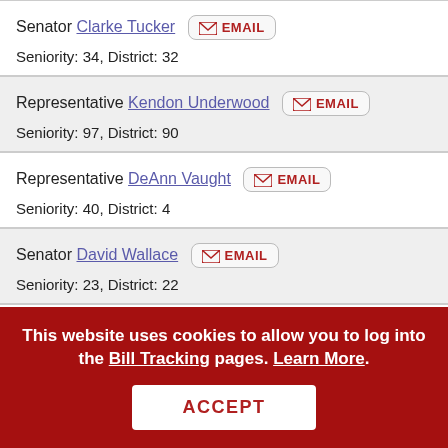Senator Clarke Tucker EMAIL
Seniority: 34, District: 32
Representative Kendon Underwood EMAIL
Seniority: 97, District: 90
Representative DeAnn Vaught EMAIL
Seniority: 40, District: 4
Senator David Wallace EMAIL
Seniority: 23, District: 22
This website uses cookies to allow you to log into the Bill Tracking pages. Learn More.
ACCEPT